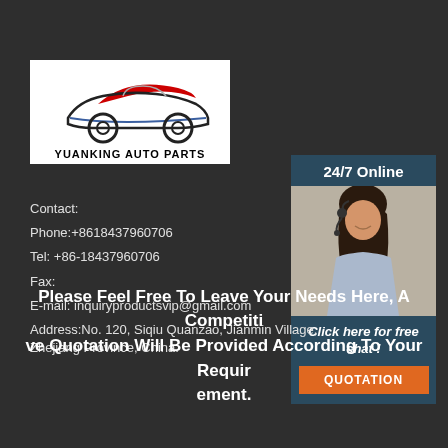[Figure (logo): Yuanking Auto Parts logo with stylized car silhouette in black and red, white background, text YUANKING AUTO PARTS below]
24/7 Online
[Figure (photo): Woman with headset smiling, customer service representative]
Click here for free chat !
QUOTATION
Contact:
Phone:+8618437960706
Tel: +86-18437960706
Fax:
E-mail: inquiryproductsvip@gmail.com
Address:No. 120, Siqiu Quanzao, Jianmin Village, Zhejiang Province, China.
Please Feel Free To Leave Your Needs Here, A Competitive Quotation Will Be Provided According To Your Requirement.